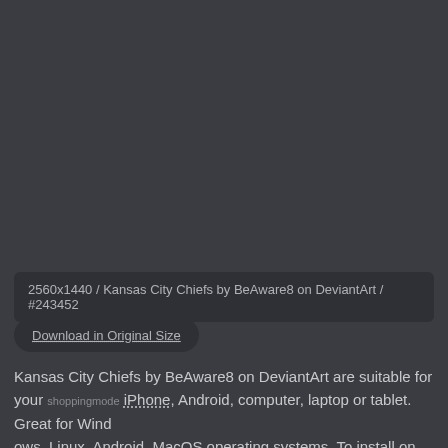2560x1440 / Kansas City Chiefs by BeAware8 on DeviantArt / #243452
Download in Original Size
Kansas City Chiefs by BeAware8 on DeviantArt are suitable for your shoppingmode iPhone, Android, computer, laptop or tablet. Great for Windows, Linux, Android, MacOS operating systems. To install on your devices you can use the instructions at the bottom of the page. Screenshot: